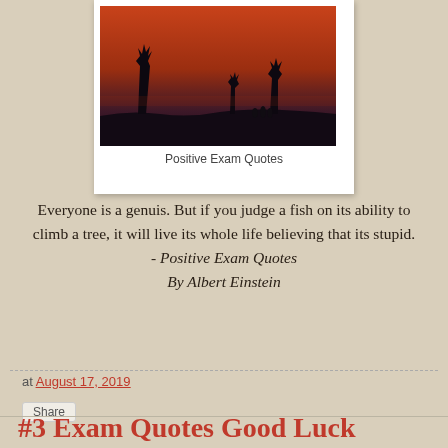[Figure (photo): Polaroid-style photo of a sunset/dusk sky with silhouetted trees and people on the horizon. Orange-red sky fading to dark purple-black at the bottom.]
Positive Exam Quotes
Everyone is a genuis. But if you judge a fish on its ability to climb a tree, it will live its whole life believing that its stupid.
- Positive Exam Quotes
By Albert Einstein
at August 17, 2019
Share
#3 Exam Quotes Good Luck